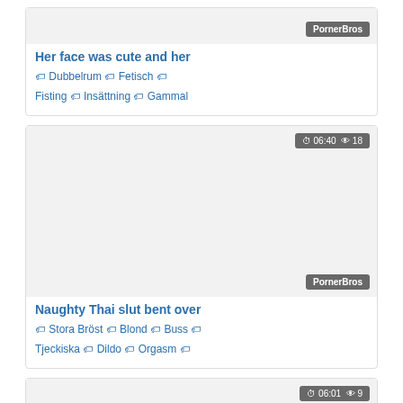[Figure (screenshot): Video card with thumbnail area, PornerBros badge, title and tags]
Her face was cute and her
🏷 Dubbelrum 🏷 Fetisch 🏷 Fisting 🏷 Insättning 🏷 Gammal
[Figure (screenshot): Video card with thumbnail area, time badge 06:40 and 18 views, PornerBros badge, title and tags]
Naughty Thai slut bent over
🏷 Stora Bröst 🏷 Blond 🏷 Buss 🏷 Tjeckiska 🏷 Dildo 🏷 Orgasm 🏷
[Figure (screenshot): Video card with thumbnail area and time badge 06:01 and 9 views]